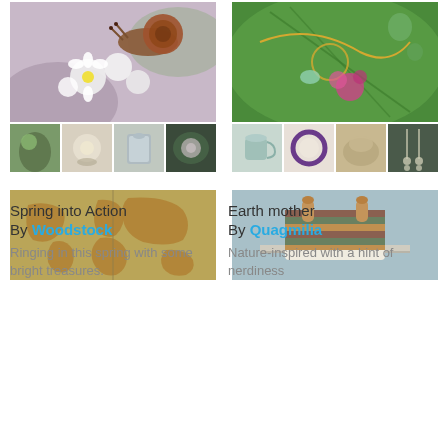[Figure (photo): Collection card: Spring into Action. Main image of a snail on white flowers, with 4 thumbnail images below showing green leaves, flowers, glass jar, pink floral items.]
Spring into Action
By Woodstock
Ringing in this spring with some bright treasures.
[Figure (photo): Collection card: Earth mother. Main image of gold jewelry on green leaf with water drops, 4 thumbnail images below showing ceramic mug, purple bracelet, gold item, dangling earrings.]
Earth mother
By Quagmilia
Nature-inspired with a hint of nerdiness
[Figure (photo): Bottom left card showing a vintage world map illustration on aged paper.]
[Figure (photo): Bottom right card showing a striped bag with wooden handles against a light blue background.]